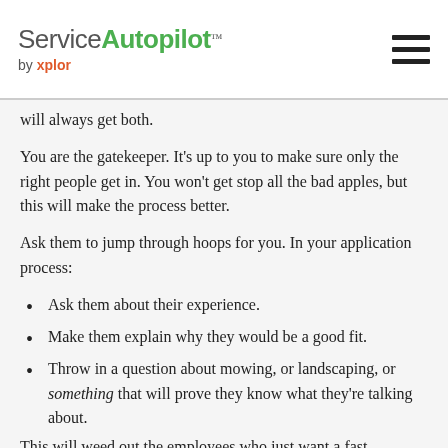Service Autopilot by xplor
will always get both.
You are the gatekeeper. It's up to you to make sure only the right people get in. You won't get stop all the bad apples, but this will make the process better.
Ask them to jump through hoops for you. In your application process:
Ask them about their experience.
Make them explain why they would be a good fit.
Throw in a question about mowing, or landscaping, or something that will prove they know what they're talking about.
This will weed out the employees who just want a fast